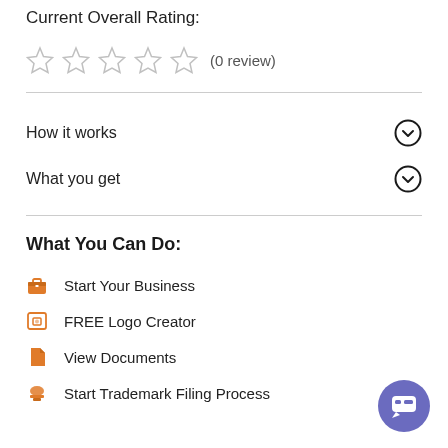Current Overall Rating:
[Figure (other): Five empty star icons followed by '(0 review)' text indicating no reviews yet]
How it works
What you get
What You Can Do:
Start Your Business
FREE Logo Creator
View Documents
Start Trademark Filing Process